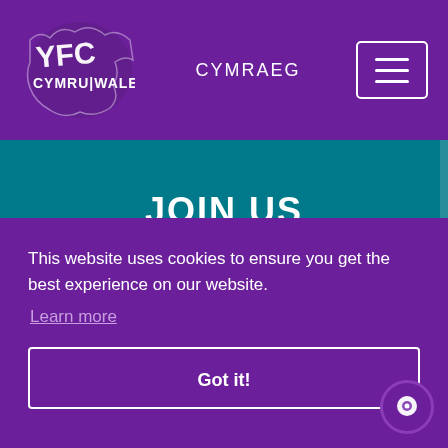[Figure (logo): YFC Cymru Wales logo - white grunge-style text on purple background]
CYMRAEG
JOIN US
Email Address
This website uses cookies to ensure you get the best experience on our website.
Learn more
Got it!